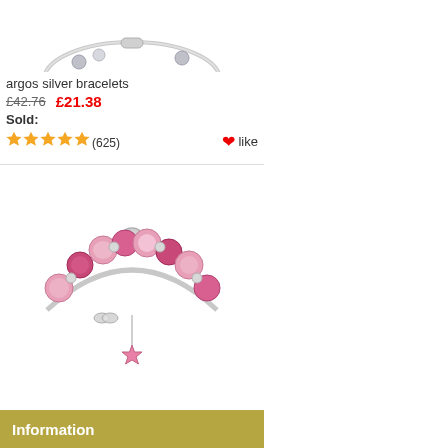[Figure (photo): Silver bracelet with charms (partially visible, top cropped)]
argos silver bracelets
£42.76  £21.38
Sold:
★★★★★ (625)  ♥like
[Figure (photo): Silver charm bracelet with pink beads and star charm]
argos silver bracelets
£51.68  £25.84
Sold:
★★★★☆ (555)  ♥like
Information